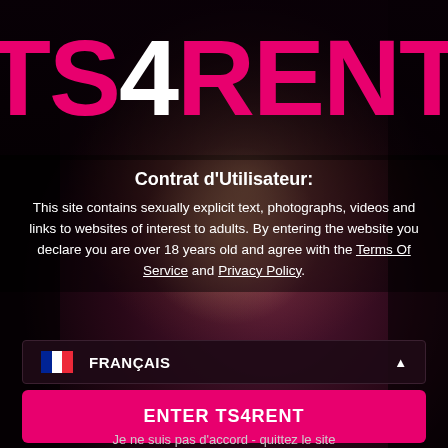[Figure (screenshot): TS4RENT website age verification page with dark background and photo of a person]
TS4RENT
Contrat d'Utilisateur:
This site contains sexually explicit text, photographs, videos and links to websites of interest to adults. By entering the website you declare you are over 18 years old and agree with the Terms Of Service and Privacy Policy.
FRANÇAIS
ENTER TS4RENT
Je ne suis pas d'accord - quittez le site